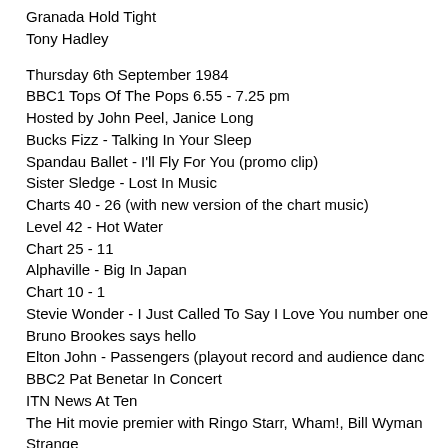Granada Hold Tight
Tony Hadley
Thursday 6th September 1984
BBC1 Tops Of The Pops 6.55 - 7.25 pm
Hosted by John Peel, Janice Long
Bucks Fizz - Talking In Your Sleep
Spandau Ballet - I'll Fly For You (promo clip)
Sister Sledge - Lost In Music
Charts 40 - 26 (with new version of the chart music)
Level 42 - Hot Water
Chart 25 - 11
Alphaville - Big In Japan
Chart 10 - 1
Stevie Wonder - I Just Called To Say I Love You number one
Bruno Brookes says hello
Elton John - Passengers (playout record and audience danc
BBC2 Pat Benetar In Concert
ITN News At Ten
The Hit movie premier with Ringo Starr, Wham!, Bill Wyman
Strange
Friday 7th September 1984
TVS Freeze Frame: Paul McCartney